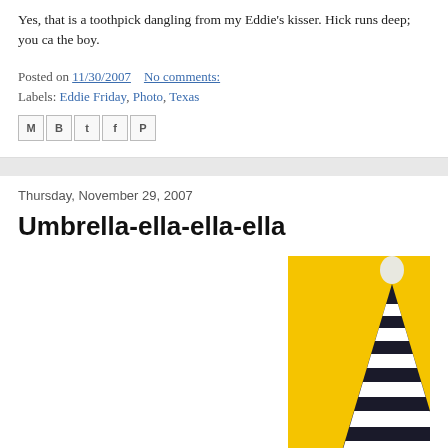Yes, that is a toothpick dangling from my Eddie's kisser. Hick runs deep; you ca the boy.
Posted on 11/30/2007    No comments:
Labels: Eddie Friday, Photo, Texas
Thursday, November 29, 2007
Umbrella-ella-ella-ella
[Figure (photo): A black and white striped folded umbrella with a white finial on top, photographed against a bright yellow background.]